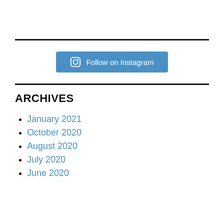[Figure (other): Horizontal black divider line]
Follow on Instagram
[Figure (other): Horizontal black divider line]
ARCHIVES
January 2021
October 2020
August 2020
July 2020
June 2020